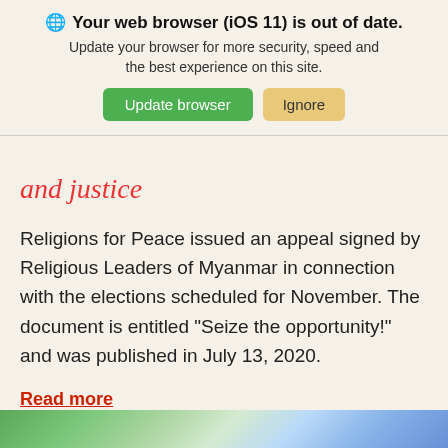🌐 Your web browser (iOS 11) is out of date. Update your browser for more security, speed and the best experience on this site. [Update browser] [Ignore]
and justice
Religions for Peace issued an appeal signed by Religious Leaders of Myanmar in connection with the elections scheduled for November. The document is entitled “Seize the opportunity!” and was published in July 13, 2020.
Read more
[Figure (photo): Partial colorful image visible at bottom of page]